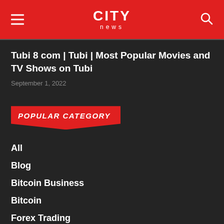CITY news
Tubi 8 com | Tubi | Most Popular Movies and TV Shows on Tubi
September 1, 2022
POPULAR CATEGORY
All
Blog
Bitcoin Business
Bitcoin
Forex Trading
Forex Broker
Forex Hashtags